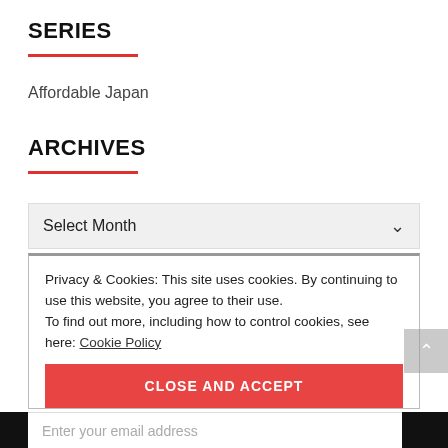SERIES
Affordable Japan
ARCHIVES
Select Month
Privacy & Cookies: This site uses cookies. By continuing to use this website, you agree to their use.
To find out more, including how to control cookies, see here: Cookie Policy
CLOSE AND ACCEPT
Enter your email address